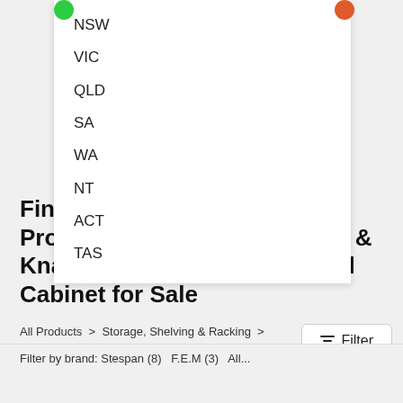NSW
VIC
QLD
SA
WA
NT
ACT
TAS
Find a F.E.D & Safetek Get Protected & Siemon & Verdex & Knaack & Steelspan Industrial Cabinet for Sale
All Products > Storage, Shelving & Racking > Industrial Cabinet
Filter